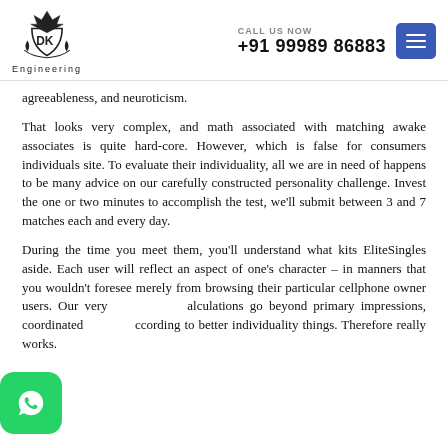DK Engineering | CALL US NOW +91 99989 86883
agreeableness, and neuroticism.
That looks very complex, and math associated with matching awake associates is quite hard-core. However, which is false for consumers individuals site. To evaluate their individuality, all we are in need of happens to be many advice on our carefully constructed personality challenge. Invest the one or two minutes to accomplish the test, we'll submit between 3 and 7 matches each and every day.
During the time you meet them, you'll understand what kits EliteSingles aside. Each user will reflect an aspect of one's character – in manners that you wouldn't foresee merely from browsing their particular cellphone owner users. Our very calculations go beyond primary impressions, coordinated according to better individuality things. Therefore really works.